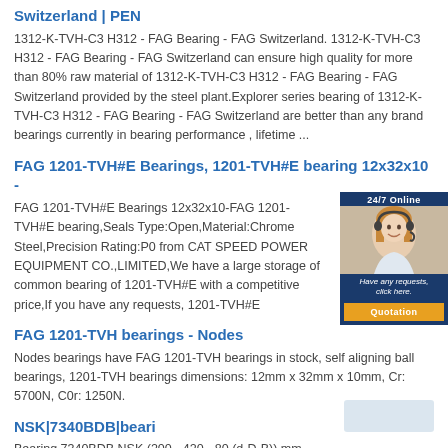Switzerland | PEN
1312-K-TVH-C3 H312 - FAG Bearing - FAG Switzerland. 1312-K-TVH-C3 H312 - FAG Bearing - FAG Switzerland can ensure high quality for more than 80% raw material of 1312-K-TVH-C3 H312 - FAG Bearing - FAG Switzerland provided by the steel plant.Explorer series bearing of 1312-K-TVH-C3 H312 - FAG Bearing - FAG Switzerland are better than any brand bearings currently in bearing performance , lifetime ...
FAG 1201-TVH#E Bearings, 1201-TVH#E bearing 12x32x10 -
FAG 1201-TVH#E Bearings 12x32x10-FAG 1201-TVH#E bearing,Seals Type:Open,Material:Chrome Steel,Precision Rating:P0 from CAT SPEED POWER EQUIPMENT CO.,LIMITED,We have a large storage of common bearing of 1201-TVH#E with a competitive price,If you have any requests, 1201-TVH#E
FAG 1201-TVH bearings - Nodes
Nodes bearings have FAG 1201-TVH bearings in stock, self aligning ball bearings, 1201-TVH bearings dimensions: 12mm x 32mm x 10mm, Cr: 5700N, C0r: 1250N.
NSK|7340BDB|beari
Bearing 7340BDB NSK (200 - 420 - 80 (d-D-B)) mm - Angular contact ball bearings - Min Qty 1 BearingsW specializes in the manufacture and supply of